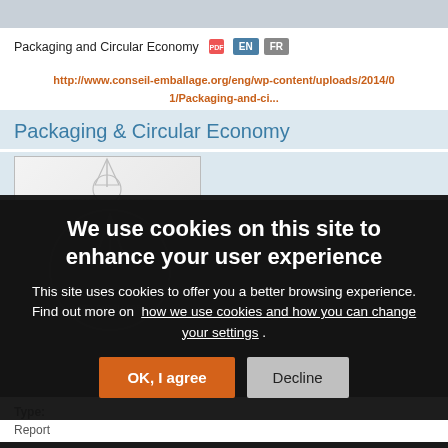Packaging and Circular Economy  EN  FR
http://www.conseil-emballage.org/eng/wp-content/uploads/2014/01/Packaging-and-ci...
Packaging & Circular Economy
[Figure (screenshot): Partial screenshot of Conseil National de l'Emballage logo/image preview]
We use cookies on this site to enhance your user experience
This site uses cookies to offer you a better browsing experience. Find out more on how we use cookies and how you can change your settings .
OK, I agree
Decline
Type:
Report